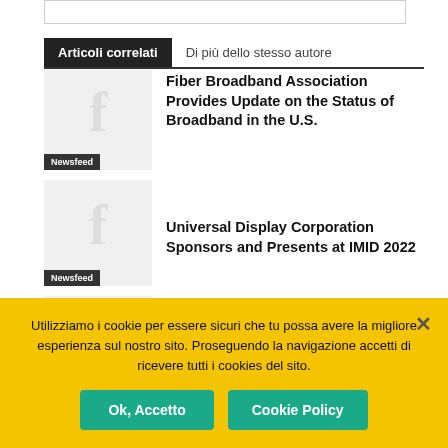Articoli correlati | Di più dello stesso autore
Fiber Broadband Association Provides Update on the Status of Broadband in the U.S.
Universal Display Corporation Sponsors and Presents at IMID 2022
ASCO Showcases Power Solutions for
Utilizziamo i cookie per essere sicuri che tu possa avere la migliore esperienza sul nostro sito. Proseguendo la navigazione accetti di ricevere tutti i cookies del sito.
Ok, Accetto
Cookie Policy